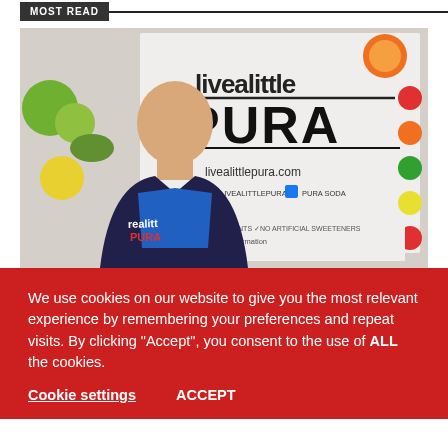MOST READ
[Figure (photo): A smiling bald man in a blue t-shirt and dark blazer standing in front of a 'livealittle PURA' branded display/van. The display shows the text 'livealittle PURA', 'livealittlepura.com', social media handles '@LIVEALITTLEPURA' and 'PURA SODA', along with colorful fruit imagery (orange, limes, cucumber) and flavor icons on the right side. The man is holding a can of Pura soda.]
We use cookies on our website to give you the most relevant experience by remembering your preferences and repeat visits. By clicking “Accept”, you consent to the use of ALL the cookies.
Cookie settings
ACCEPT